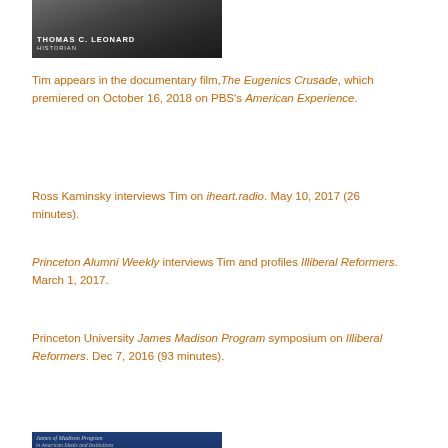[Figure (photo): Photo of Thomas C. Leonard, Historian — dark background with white text overlay]
Tim appears in the documentary film, The Eugenics Crusade, which premiered on October 16, 2018 on PBS's American Experience.
Ross Kaminsky interviews Tim on iheart.radio. May 10, 2017 (26 minutes).
Princeton Alumni Weekly interviews Tim and profiles Illiberal Reformers. March 1, 2017.
Princeton University James Madison Program symposium on Illiberal Reformers. Dec 7, 2016 (93 minutes).
[Figure (photo): Photo of speaker at James Madison Program event at Princeton University — blue background with text overlay]